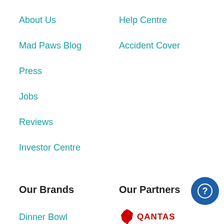About Us
Help Centre
Mad Paws Blog
Accident Cover
Press
Jobs
Reviews
Investor Centre
Our Brands
Our Partners
Dinner Bowl
[Figure (logo): Qantas airline logo with red kangaroo symbol and QANTAS text in red]